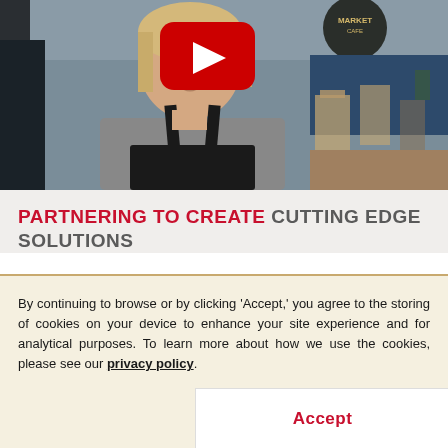[Figure (photo): A woman wearing a gray t-shirt and black apron standing in a cafe/restaurant setting, with a YouTube play button overlay on the image]
PARTNERING TO CREATE CUTTING EDGE SOLUTIONS
By continuing to browse or by clicking 'Accept,' you agree to the storing of cookies on your device to enhance your site experience and for analytical purposes. To learn more about how we use the cookies, please see our privacy policy.
Accept